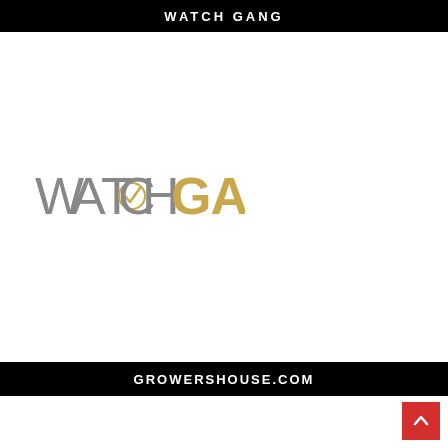WATCH GANG
[Figure (logo): Watch Gang logo: 'WATCH' in gray thin serif caps with a checkmark replacing the letter A's crossbar, followed by 'GANG' in gold/amber bold caps]
GROWERSHOUSE.COM